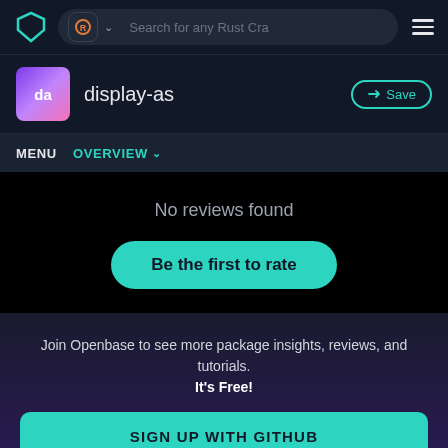[Figure (screenshot): Navigation bar with shield logo, Rust crate search bar, and hamburger menu]
display-as
Save
MENU  OVERVIEW
No reviews found
Be the first to rate
Join Openbase to see more package insights, reviews, and tutorials. It's Free!
SIGN UP WITH GITHUB
By signing up, you agree to our terms and privacy policy